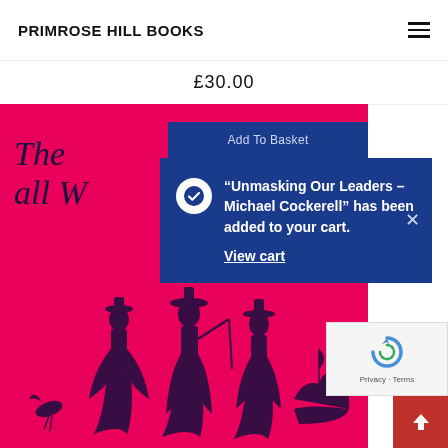PRIMROSE HILL BOOKS
£30.00
Add To Basket
[Figure (screenshot): Book cover with hot pink/magenta background showing italic text 'The all W...' and a dark woodcut illustration of three figures in historical costume with a bird and a ship]
“Unmasking Our Leaders – Michael Cockerell” has been added to your cart.
View cart
[Figure (logo): Google reCAPTCHA badge with blue circular arrow icon and Privacy · Terms text]
[Figure (illustration): Red scroll-to-top button with upward arrow]